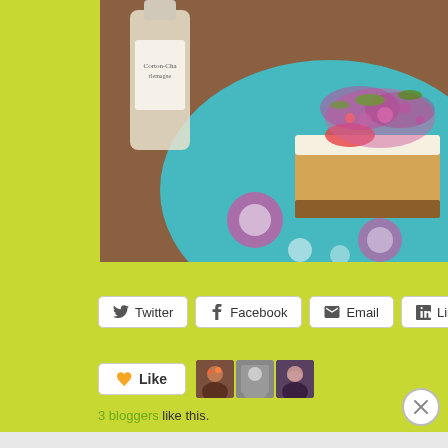[Figure (photo): A slice of decorated cake topped with pink rose petals, pistachios, and strawberries on a turquoise floral plate, with a wine bottle in the background]
Twitter  Facebook  Email  LinkedIn  Pinterest
Like  3 bloggers like this.
Advertisements
[Figure (logo): WordPress VIP logo and an advertisement banner with Learn more button]